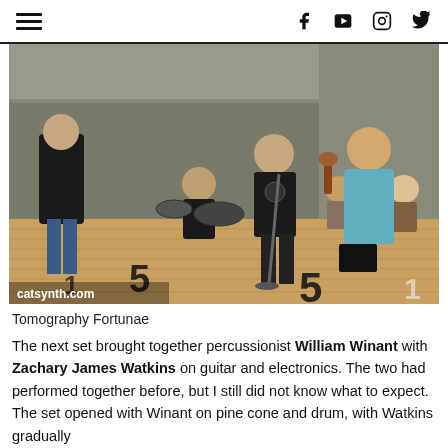≡  f  ▶  📷  🐦
[Figure (photo): Musicians performing on a wooden floor stage. A person in a blue outfit plays violin on the right, a seated drummer is in the center, a man in a black graphic t-shirt stands in the center-right, and a person in black stands with back to camera on the left. Large black numbers are visible on the floor. Watermark reads catsynth.com.]
Tomography Fortunae
The next set brought together percussionist William Winant with Zachary James Watkins on guitar and electronics. The two had performed together before, but I still did not know what to expect. The set opened with Winant on pine cone and drum, with Watkins gradually